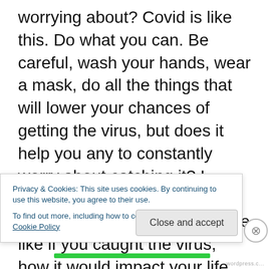worrying about?  Covid is like this. Do what you can.  Be careful, wash your hands, wear a mask, do all the things that will lower your chances of getting the virus, but does it help you any to constantly worry about catching it?  I would bet that you may have even imagined what it might be like if you caught the virus, how it would impact your life, and how you might feel, circling the drain of your life.  There are far better uses of your imagination, I can tell you.  Drink up this life while you have it. Others are now long gone long before they should have probably died, and you are still here.  Celebrate that.  Some things will be
Privacy & Cookies: This site uses cookies. By continuing to use this website, you agree to their use.
To find out more, including how to control cookies, see here: Cookie Policy